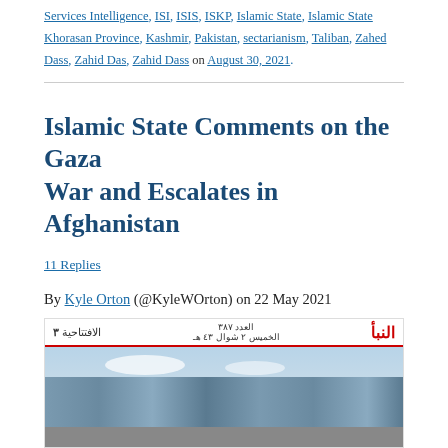Services Intelligence, ISI, ISIS, ISKP, Islamic State, Islamic State Khorasan Province, Kashmir, Pakistan, sectarianism, Taliban, Zahed Dass, Zahid Das, Zahid Dass on August 30, 2021.
Islamic State Comments on the Gaza War and Escalates in Afghanistan
11 Replies
By Kyle Orton (@KyleWOrton) on 22 May 2021
[Figure (photo): Arabic-language newspaper page header (Al-Naba) with red logo, Arabic text header bar, and aerial/landscape photograph below]